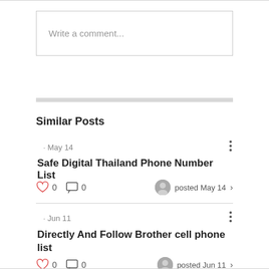Write a comment...
Similar Posts
· May 14
Safe Digital Thailand Phone Number List
0  0  posted May 14
· Jun 11
Directly And Follow Brother cell phone list
0  0  posted Jun 11